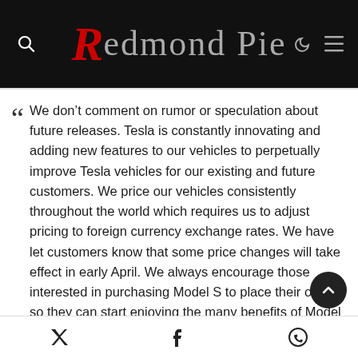Redmond Pie
We don't comment on rumor or speculation about future releases. Tesla is constantly innovating and adding new features to our vehicles to perpetually improve Tesla vehicles for our existing and future customers. We price our vehicles consistently throughout the world which requires us to adjust pricing to foreign currency exchange rates. We have let customers know that some price changes will take effect in early April. We always encourage those interested in purchasing Model S to place their order so they can start enjoying the many benefits of Model S today.
Share icons: Twitter, Facebook, WhatsApp